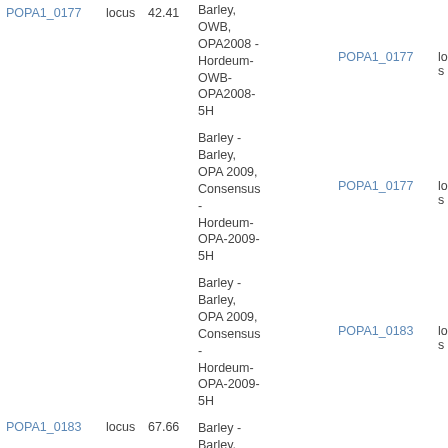| POPA1_0177 | locus | 42.41 | Barley, OWB, OPA2008 - Hordeum-OWB-OPA2008-5H | POPA1_0177 | locus | 5 |
|  |  |  | Barley - Barley, OPA 2009, Consensus - Hordeum-OPA-2009-5H | POPA1_0177 | locus | 5 |
|  |  |  | Barley - Barley, OPA 2009, Consensus - Hordeum-OPA-2009-5H | POPA1_0183 | locus | 8 |
| POPA1_0183 | locus | 67.66 | Barley - Barley, OPA123-2008, Consensus | POPA1_0183 | locus | 8 |